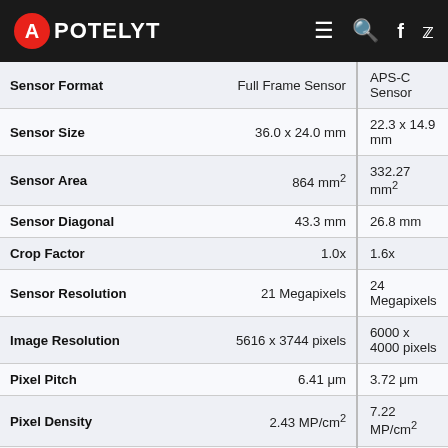APOTELYT
|  | Full Frame Sensor | APS-C Sensor |
| --- | --- | --- |
| Sensor Format | Full Frame Sensor | APS-C Sensor |
| Sensor Size | 36.0 x 24.0 mm | 22.3 x 14.9 mm |
| Sensor Area | 864 mm² | 332.27 mm² |
| Sensor Diagonal | 43.3 mm | 26.8 mm |
| Crop Factor | 1.0x | 1.6x |
| Sensor Resolution | 21 Megapixels | 24 Megapixels |
| Image Resolution | 5616 x 3744 pixels | 6000 x 4000 pixels |
| Pixel Pitch | 6.41 μm | 3.72 μm |
| Pixel Density | 2.43 MP/cm² | 7.22 MP/cm² |
| Moiré control | Anti-Alias filter | Anti-Alias filter |